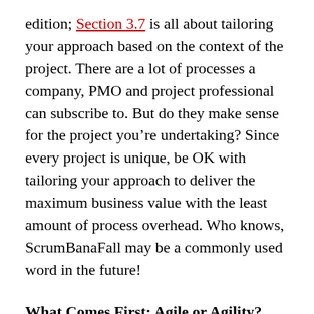edition; Section 3.7 is all about tailoring your approach based on the context of the project. There are a lot of processes a company, PMO and project professional can subscribe to. But do they make sense for the project you're undertaking? Since every project is unique, be OK with tailoring your approach to deliver the maximum business value with the least amount of process overhead. Who knows, ScrumBanaFall may be a commonly used word in the future!
What Comes First; Agile or Agility? Agile practices will continue to gain popularity and adoption as the speed of business only increases. With digital transformations and changes in